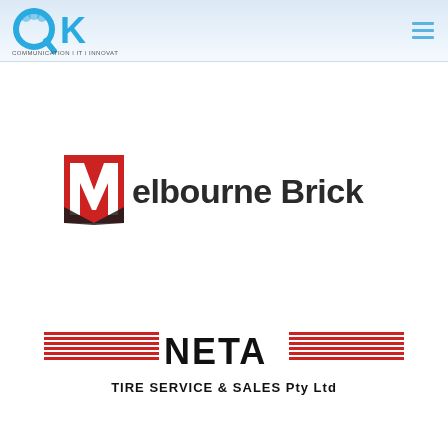QK Communication | IT | Innovation
[Figure (logo): Melbourne Brick logo — red M-shaped icon on the left followed by 'elbourne Brick' in dark bold sans-serif text]
[Figure (logo): NETA Tire Service & Sales Pty Ltd logo — red horizontal stripes at top and bottom flanking 'NETA' in large bold black text, with 'TIRE SERVICE & SALES Pty Ltd' below]